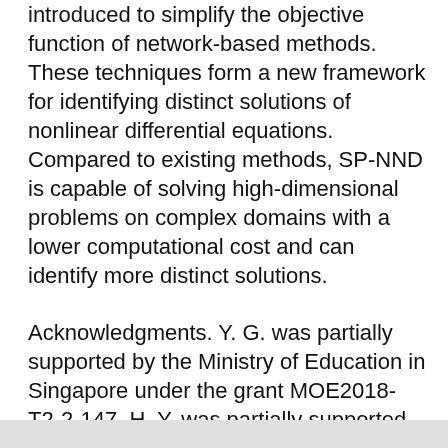introduced to simplify the objective function of network-based methods. These techniques form a new framework for identifying distinct solutions of nonlinear differential equations. Compared to existing methods, SP-NND is capable of solving high-dimensional problems on complex domains with a lower computational cost and can identify more distinct solutions.
Acknowledgments. Y. G. was partially supported by the Ministry of Education in Singapore under the grant MOE2018-T2-2-147. H. Y. was partially supported by the US National Science Foundation under award DMS-1945029.
References